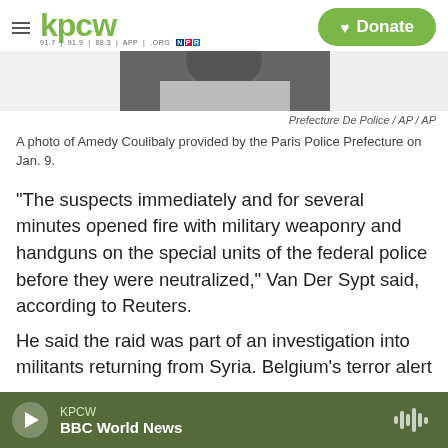kpcw  Donate
[Figure (photo): Partial photo of Amedy Coulibaly, cropped, showing top of head and shoulders]
Prefecture De Police / AP / AP
A photo of Amedy Coulibaly provided by the Paris Police Prefecture on Jan. 9.
"The suspects immediately and for several minutes opened fire with military weaponry and handguns on the special units of the federal police before they were neutralized," Van Der Sypt said, according to Reuters.
He said the raid was part of an investigation into militants returning from Syria. Belgium's terror alert
KPCW  BBC World News